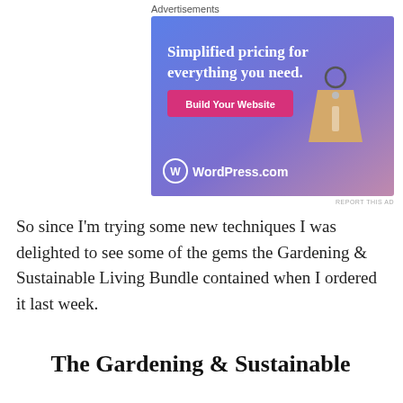Advertisements
[Figure (illustration): WordPress.com advertisement banner with gradient purple-blue to pink background. Text reads 'Simplified pricing for everything you need.' with a pink 'Build Your Website' button and a tan price tag graphic. WordPress.com logo at bottom left.]
REPORT THIS AD
So since I'm trying some new techniques I was delighted to see some of the gems the Gardening & Sustainable Living Bundle contained when I ordered it last week.
The Gardening & Sustainable